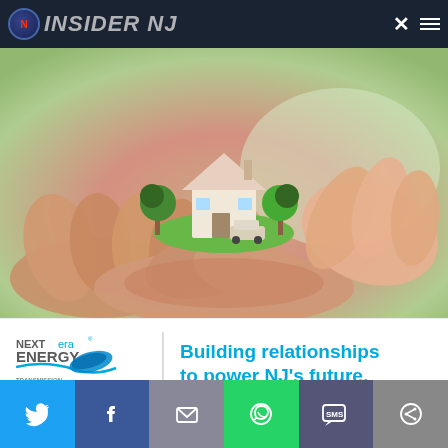INSIDER NJ
[Figure (photo): Advertisement image showing multiple pairs of hands cupped together holding a miniature house model with trees and a car on a grass patch. Below the photo is the NextEra Energy Transmission MidAtlantic logo and the tagline 'Building relationships to power NJ's future.']
North Jersey Democratic
[Figure (other): Social sharing bar at the bottom with buttons for Twitter, Facebook, Email, WhatsApp, SMS, and More options]